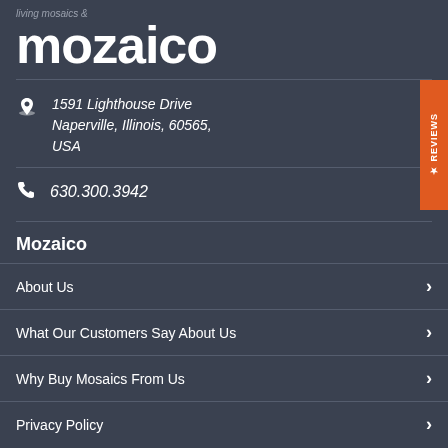mozaico
1591 Lighthouse Drive
Naperville, Illinois, 60565,
USA
630.300.3942
Mozaico
About Us
What Our Customers Say About Us
Why Buy Mosaics From Us
Privacy Policy